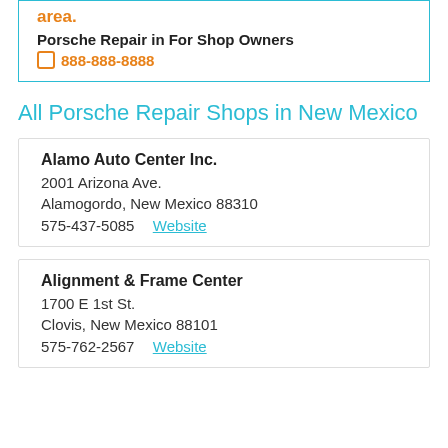area.
Porsche Repair in For Shop Owners
888-888-8888
All Porsche Repair Shops in New Mexico
Alamo Auto Center Inc.
2001 Arizona Ave.
Alamogordo, New Mexico 88310
575-437-5085  Website
Alignment & Frame Center
1700 E 1st St.
Clovis, New Mexico 88101
575-762-2567  Website